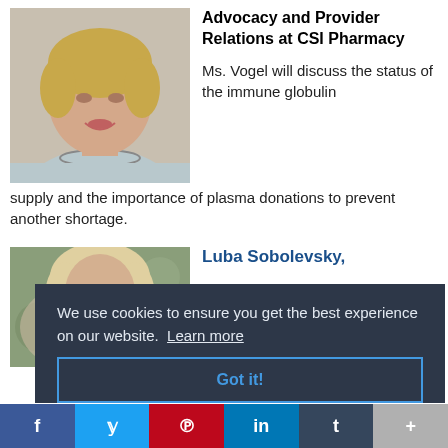[Figure (photo): Headshot of a woman with short blonde hair wearing a light grey top with decorative neckline]
Advocacy and Provider Relations at CSI Pharmacy
Ms. Vogel will discuss the status of the immune globulin supply and the importance of plasma donations to prevent another shortage.
[Figure (photo): Partial photo of a woman, partially obscured by cookie consent banner]
Luba Sobolevsky,
We use cookies to ensure you get the best experience on our website. Learn more
Got it!